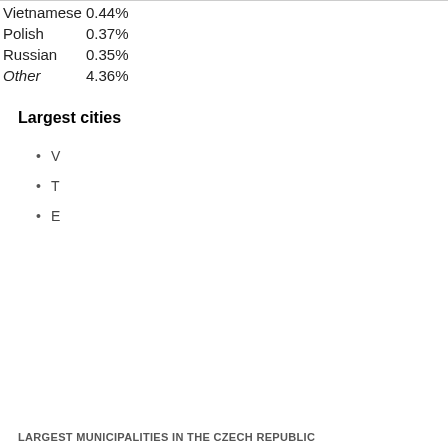| Vietnamese | 0.44% |
| Polish | 0.37% |
| Russian | 0.35% |
| Other | 4.36% |
Largest cities
V
T
E
LARGEST MUNICIPALITIES IN THE CZECH REPUBLIC